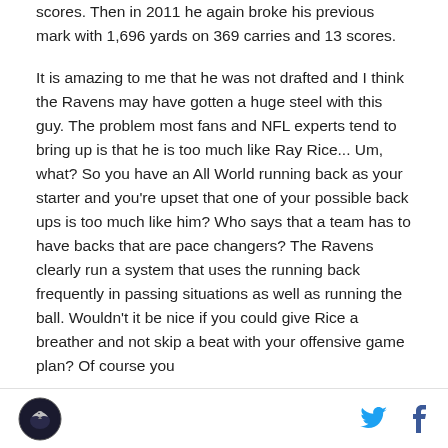scores. Then in 2011 he again broke his previous mark with 1,696 yards on 369 carries and 13 scores.
It is amazing to me that he was not drafted and I think the Ravens may have gotten a huge steel with this guy. The problem most fans and NFL experts tend to bring up is that he is too much like Ray Rice... Um, what? So you have an All World running back as your starter and you're upset that one of your possible back ups is too much like him? Who says that a team has to have backs that are pace changers? The Ravens clearly run a system that uses the running back frequently in passing situations as well as running the ball. Wouldn't it be nice if you could give Rice a breather and not skip a beat with your offensive game plan? Of course you
Ravens logo · Twitter · Facebook